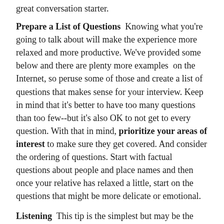great conversation starter.
Prepare a List of Questions  Knowing what you're going to talk about will make the experience more relaxed and more productive. We've provided some below and there are plenty more examples  on the Internet, so peruse some of those and create a list of questions that makes sense for your interview. Keep in mind that it's better to have too many questions than too few--but it's also OK to not get to every question. With that in mind, prioritize your areas of interest to make sure they get covered. And consider the ordering of questions. Start with factual questions about people and place names and then once your relative has relaxed a little, start on the questions that might be more delicate or emotional.
Listening  This tip is the simplest but may be the